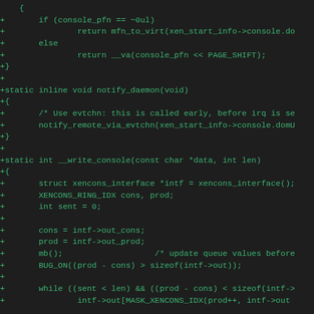[Figure (screenshot): Source code diff showing C code additions (lines prefixed with +) for console-related functions including notify_daemon and __write_console, displayed in green monospace font on dark background]